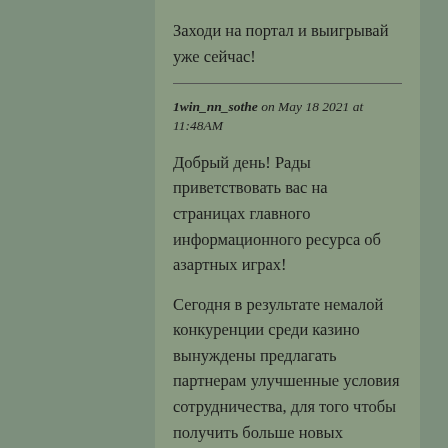Заходи на портал и выигрывай уже сейчас!
1win_nn_sothe on May 18 2021 at 11:48AM
Добрый день! Рады приветствовать вас на страницах главного информационного ресурса об азартных играх!
Сегодня в результате немалой конкуренции среди казино вынуждены предлагать партнерам улучшенные условия сотрудничества, для того чтобы получить больше новых игроков на свои сайты.
При этом каждый азартный клуб